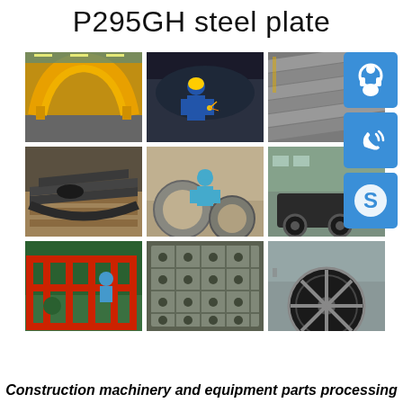P295GH steel plate
[Figure (photo): 9-photo grid showing steel plate fabrication and construction machinery parts processing, with 3 contact icons (headset, phone, Skype) on the right side]
Construction machinery and equipment parts processing